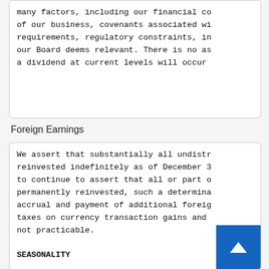many factors, including our financial co of our business, covenants associated wi requirements, regulatory constraints, in our Board deems relevant. There is no as a dividend at current levels will occur
Foreign Earnings
We assert that substantially all undistr reinvested indefinitely as of December 3 to continue to assert that all or part o permanently reinvested, such a determina accrual and payment of additional foreig taxes on currency transaction gains and not practicable.

SEASONALITY